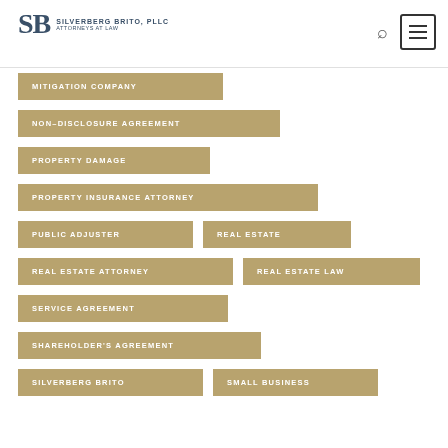SILVERBERG BRITO, PLLC ATTORNEYS AT LAW
MITIGATION COMPANY
NON-DISCLOSURE AGREEMENT
PROPERTY DAMAGE
PROPERTY INSURANCE ATTORNEY
PUBLIC ADJUSTER
REAL ESTATE
REAL ESTATE ATTORNEY
REAL ESTATE LAW
SERVICE AGREEMENT
SHAREHOLDER'S AGREEMENT
SILVERBERG BRITO
SMALL BUSINESS